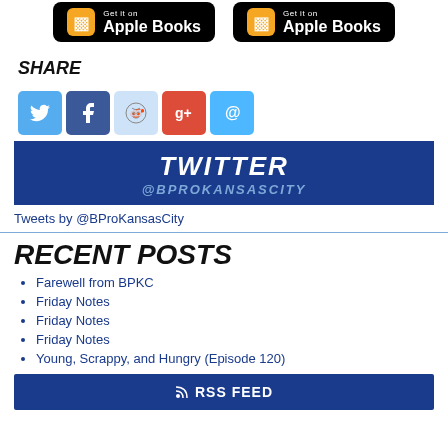[Figure (logo): Two Apple Books download buttons side by side on black rounded rectangle backgrounds]
SHARE
[Figure (infographic): Social share icon buttons: Twitter (blue bird), Facebook (blue f), Reddit (light blue alien), Google+ (red G+), Email (blue @)]
[Figure (infographic): Twitter banner with dark blue background, white bold italic text TWITTER and blue italic text @BPROKANSASCITY]
Tweets by @BProKansasCity
RECENT POSTS
Farewell from BPKC
Friday Notes
Friday Notes
Friday Notes
Young, Scrappy, and Hungry (Episode 120)
[Figure (infographic): RSS FEED button with dark navy background and white text]